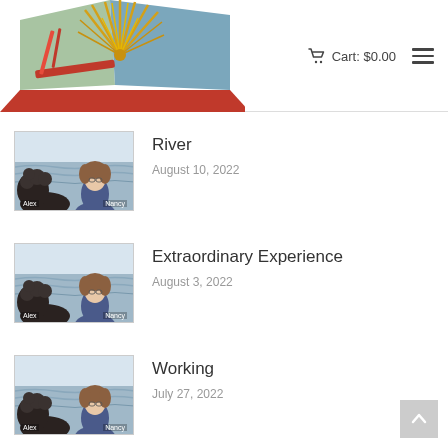[Figure (illustration): Website header logo: watercolor-style artwork showing an open book with a spiky yellow plant (like a yucca), red stripes, and blue/green hues on a light background]
Cart: $0.00
[Figure (photo): Thumbnail photo showing a dark curly-haired dog (Alex) and a woman with glasses (Nancy) in front of water/river scene]
River
August 10, 2022
[Figure (photo): Thumbnail photo showing Alex (dark curly-haired dog) and Nancy (woman with glasses) in front of water scene]
Extraordinary Experience
August 3, 2022
[Figure (photo): Thumbnail photo showing Alex (dark curly-haired dog) and Nancy (woman with glasses) in front of water scene]
Working
July 27, 2022